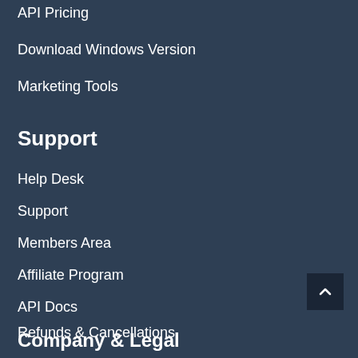API Pricing
Download Windows Version
Marketing Tools
Support
Help Desk
Support
Members Area
Affiliate Program
API Docs
Refunds & Cancellations
Company & Legal